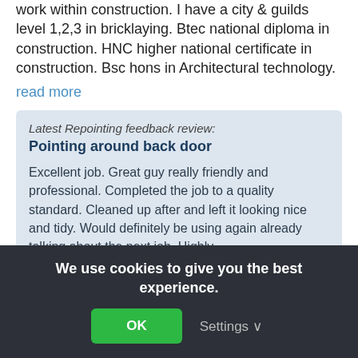work within construction. I have a city & guilds level 1,2,3 in bricklaying. Btec national diploma in construction. HNC higher national certificate in construction. Bsc hons in Architectural technology.
read more
Latest Repointing feedback review: Pointing around back door
Excellent job. Great guy really friendly and professional. Completed the job to a quality standard. Cleaned up after and left it looking nice and tidy. Would definitely be using again already talking about the next job. Highly...
By mertz on 24th Sep, 2017
We use cookies to give you the best experience.